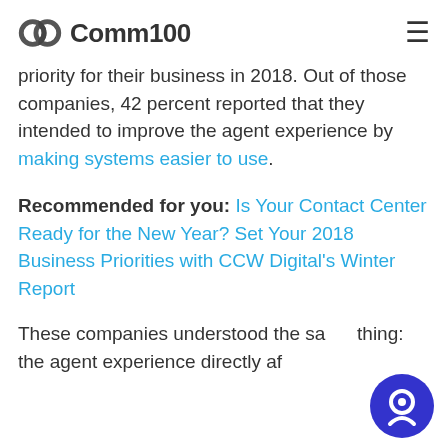Comm100
priority for their business in 2018. Out of those companies, 42 percent reported that they intended to improve the agent experience by making systems easier to use.
Recommended for you: Is Your Contact Center Ready for the New Year? Set Your 2018 Business Priorities with CCW Digital's Winter Report
These companies understood the same thing: the agent experience directly affects